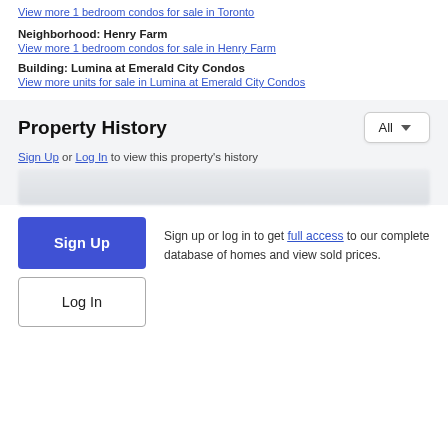View more 1 bedroom condos for sale in Toronto
Neighborhood: Henry Farm
View more 1 bedroom condos for sale in Henry Farm
Building: Lumina at Emerald City Condos
View more units for sale in Lumina at Emerald City Condos
Property History
Sign Up or Log In to view this property's history
Sign up or log in to get full access to our complete database of homes and view sold prices.